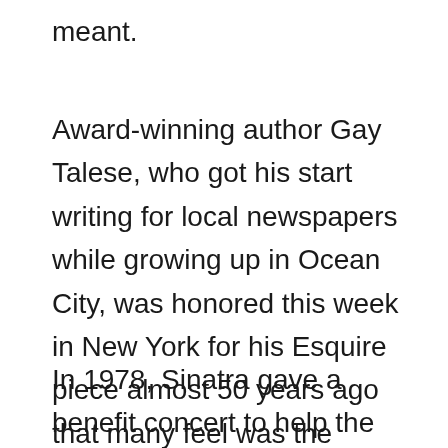meant.
Award-winning author Gay Talese, who got his start writing for local newspapers while growing up in Ocean City, was honored this week in New York for his Esquire piece almost 50 years ago that many feel was the ultimate Sinatra story.
In 1978, Sinatra gave a benefit concert to help the Atlantic City Medical Center. The event raised $600,000 and coming at the